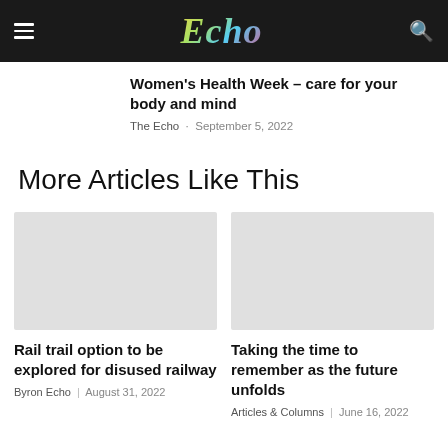Echo
Women's Health Week – care for your body and mind
The Echo · September 5, 2022
More Articles Like This
[Figure (photo): Placeholder image for Rail trail article]
Rail trail option to be explored for disused railway
Byron Echo | August 31, 2022
[Figure (photo): Placeholder image for Taking the time article]
Taking the time to remember as the future unfolds
Articles & Columns | June 16, 2022